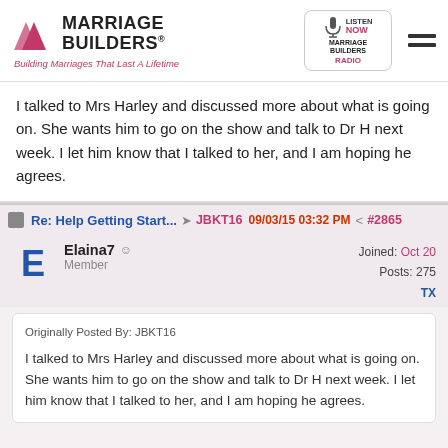Marriage Builders® — Building Marriages That Last A Lifetime
I talked to Mrs Harley and discussed more about what is going on. She wants him to go on the show and talk to Dr H next week. I let him know that I talked to her, and I am hoping he agrees.
Re: Help Getting Start... → JBKT16  09/03/15 03:32 PM  #2865
Elaina7  Member  Joined: Oct 20  Posts: 275  TX
Originally Posted By: JBKT16

I talked to Mrs Harley and discussed more about what is going on. She wants him to go on the show and talk to Dr H next week. I let him know that I talked to her, and I am hoping he agrees.